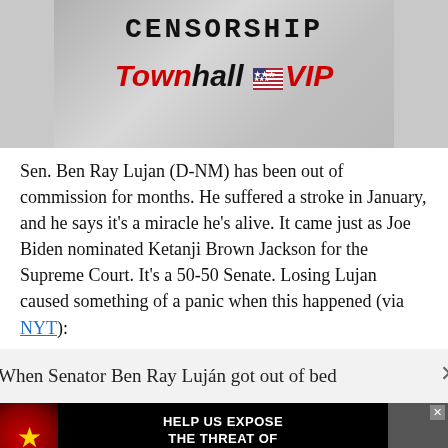[Figure (screenshot): Townhall VIP banner image with 'CENSORSHIP' text in monospace font and Townhall VIP logo with American flag icon on a grey textured background]
Sen. Ben Ray Lujan (D-NM) has been out of commission for months. He suffered a stroke in January, and he says it's a miracle he's alive. It came just as Joe Biden nominated Ketanji Brown Jackson for the Supreme Court. It's a 50-50 Senate. Losing Lujan caused something of a panic when this happened (via NYT):
When Senator Ben Ray Luján got out of bed
[Figure (screenshot): Advertisement: HELP US EXPOSE THE THREAT OF COMMUNIST CHINA with Chinese flag imagery and a figure in a suit]